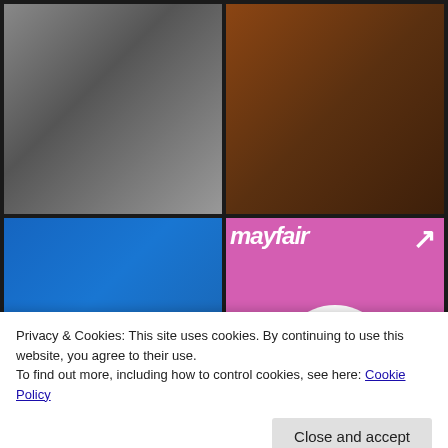[Figure (photo): Black and white photo of a woman in lingerie holding a large gun]
[Figure (photo): Color photo showing a woman in dark outfit with pearl necklace, close-up]
[Figure (photo): Two blonde women in gold outfits holding guns against blue background]
[Figure (photo): Mayfair magazine cover featuring a woman in pink outfit on pink background with male symbol]
[Figure (photo): Partial photo at bottom left, dark toned]
[Figure (photo): Partial photo at bottom right, green toned]
Privacy & Cookies: This site uses cookies. By continuing to use this website, you agree to their use.
To find out more, including how to control cookies, see here: Cookie Policy
Close and accept